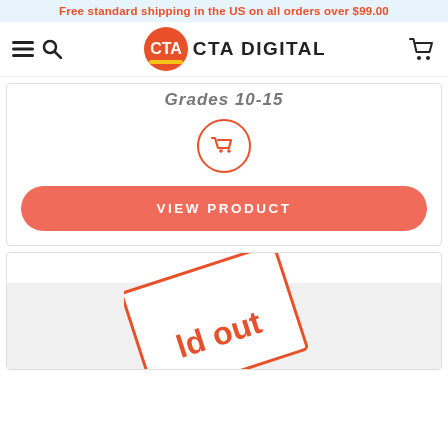Free standard shipping in the US on all orders over $99.00
[Figure (logo): CTA Digital logo with red circle and shopping cart icon, text 'CTA DIGITAL']
Grades 10-15
[Figure (illustration): Red circle with shopping cart icon inside]
VIEW PRODUCT
[Figure (illustration): Sold out badge - rotated card with red border showing 'ld out' text (partially cropped)]